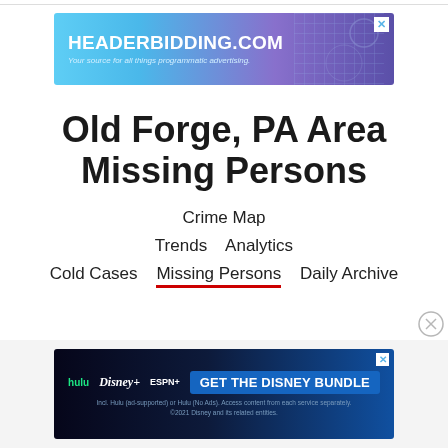[Figure (illustration): HEADERBIDDING.COM advertisement banner with blue/purple gradient background and grid overlay. Text: HEADERBIDDING.COM, Your source for all things programmatic advertising.]
Old Forge, PA Area Missing Persons
Crime Map
Trends   Analytics
Cold Cases   Missing Persons   Daily Archive
[Figure (illustration): Disney Bundle advertisement banner. Logos: hulu, Disney+, ESPN+. Button: GET THE DISNEY BUNDLE. Fine print: Incl. Hulu (ad-supported) or Hulu (No Ads). Access content from each service separately. ©2021 Disney and its related entities.]